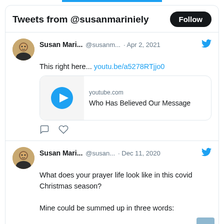Tweets from @susanmariniely
Susan Mari... @susanm... · Apr 2, 2021
This right here... youtu.be/a5278RTjjo0
[Figure (screenshot): YouTube video embed card showing play button on left and 'youtube.com / Who Has Believed Our Message' on right]
Susan Mari... @susan... · Dec 11, 2020
What does your prayer life look like in this covid Christmas season?

Mine could be summed up in three words:

Lord, have mercy.